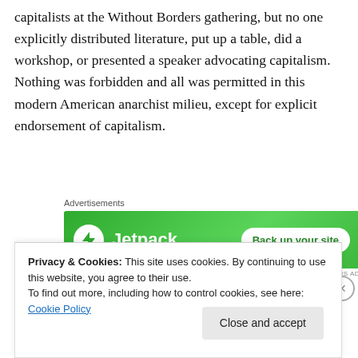capitalists at the Without Borders gathering, but no one explicitly distributed literature, put up a table, did a workshop, or presented a speaker advocating capitalism. Nothing was forbidden and all was permitted in this modern American anarchist milieu, except for explicit endorsement of capitalism.
[Figure (other): Advertisement banner for Jetpack with green background, Jetpack logo with lightning bolt icon, and 'Back up your site' button]
Twenty-five years later, the anarchist milieu is much the
Privacy & Cookies: This site uses cookies. By continuing to use this website, you agree to their use. To find out more, including how to control cookies, see here: Cookie Policy